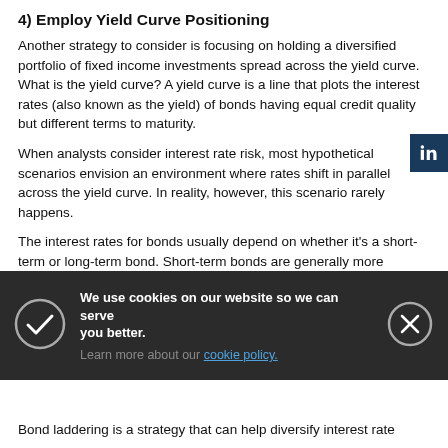4) Employ Yield Curve Positioning
Another strategy to consider is focusing on holding a diversified portfolio of fixed income investments spread across the yield curve. What is the yield curve? A yield curve is a line that plots the interest rates (also known as the yield) of bonds having equal credit quality but different terms to maturity.
When analysts consider interest rate risk, most hypothetical scenarios envision an environment where rates shift in parallel across the yield curve. In reality, however, this scenario rarely happens.
The interest rates for bonds usually depend on whether it's a short-term or long-term bond. Short-term bonds are generally more sensitive to changes in the Federal Reserve's monetary policy, while long-term bonds are more sensitive to growth. Given that, investors may want to consider putting a percentage of money in short-term bonds and allocating the rest to longer-maturity bonds.
[Figure (logo): LinkedIn share button icon]
We use cookies on our website so we can serve you better.
Learn more about our cookie policy.
Bond laddering is a strategy that can help diversify interest rate